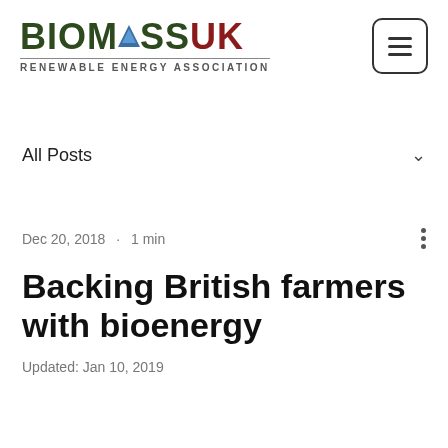[Figure (logo): BIOMASSUK Renewable Energy Association logo with stylized triangle in the letter A, green and dark red color scheme]
All Posts
Dec 20, 2018  ·  1 min
Backing British farmers with bioenergy
Updated: Jan 10, 2019